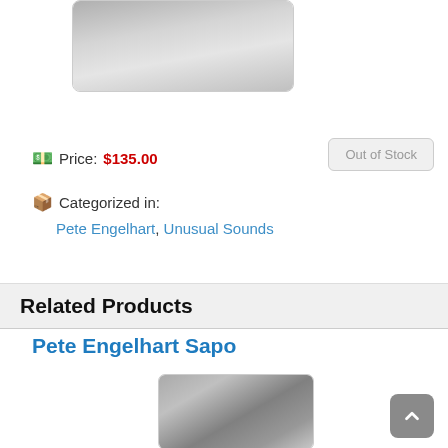[Figure (photo): Close-up photo of a metallic object (appears to be a musical instrument or similar metal item) against a light gray background]
Price: $135.00
Out of Stock
Categorized in:
Pete Engelhart, Unusual Sounds
Related Products
Pete Engelhart Sapo
[Figure (photo): Photo of a metallic instrument related product]